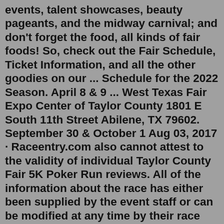events, talent showcases, beauty pageants, and the midway carnival; and don't forget the food, all kinds of fair foods! So, check out the Fair Schedule, Ticket Information, and all the other goodies on our ... Schedule for the 2022 Season. April 8 & 9 ... West Texas Fair Expo Center of Taylor County 1801 E South 11th Street Abilene, TX 79602. September 30 & October 1 Aug 03, 2017 · Raceentry.com also cannot attest to the validity of individual Taylor County Fair 5K Poker Run reviews. All of the information about the race has either been supplied by the event staff or can be modified at any time by their race management. 2022 Taylor County Fair 5K Poker Run registration details are only as accurate as the event has made them. Come celebrate the 139th Taylor County Fair with us in Medford Wisconsin! Schedule of Events: 8:00 AM: Judging all departments in Exhibit Hall 8:00 AM: Explorers face-to-face Judging in Exhibit Hall 8:30 AM: Swine Judging 9:00 AM - 6:00 PM: Historical Museum open 10:00 AM - 10:00 PM: Discover Agriculture Building 11 AM 12:00